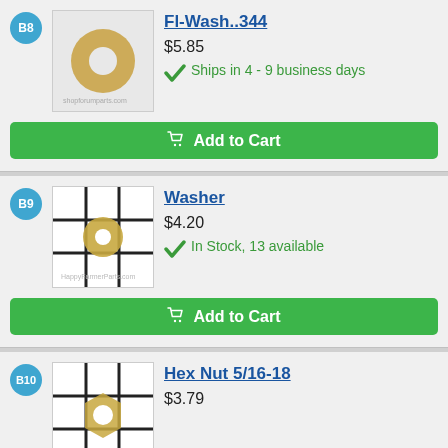B8
[Figure (photo): Flat washer hardware part on gray background]
Fl-Wash..344
$5.85
Ships in 4 - 9 business days
Add to Cart
B9
[Figure (photo): Washer hardware part on white grid background]
Washer
$4.20
In Stock, 13 available
Add to Cart
B10
[Figure (photo): Hex nut hardware part on white grid background]
Hex Nut 5/16-18
$3.79